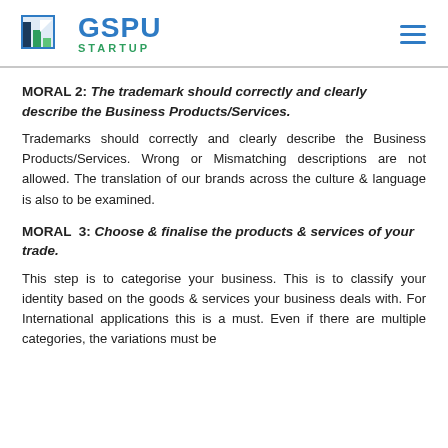GSPU STARTUP
MORAL 2: The trademark should correctly and clearly describe the Business Products/Services.
Trademarks should correctly and clearly describe the Business Products/Services. Wrong or Mismatching descriptions are not allowed. The translation of our brands across the culture & language is also to be examined.
MORAL 3: Choose & finalise the products & services of your trade.
This step is to categorise your business. This is to classify your identity based on the goods & services your business deals with. For International applications this is a must. Even if there are multiple categories, the variations must be